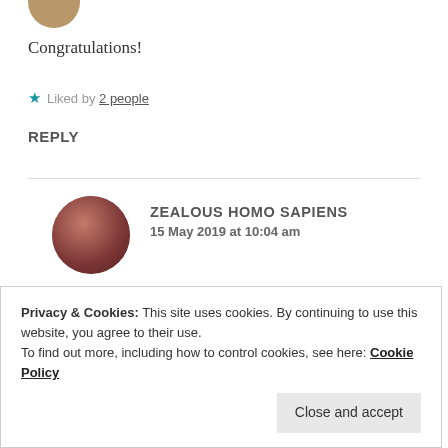[Figure (photo): Partial circular avatar image at top of page, cropped]
Congratulations!
★ Liked by 2 people
REPLY
[Figure (photo): Circular avatar photo showing a person with dark hair, reddish-brown tinted image]
ZEALOUS HOMO SAPIENS
15 May 2019 at 10:04 am
Thank you so much!
Privacy & Cookies: This site uses cookies. By continuing to use this website, you agree to their use.
To find out more, including how to control cookies, see here: Cookie Policy
Close and accept